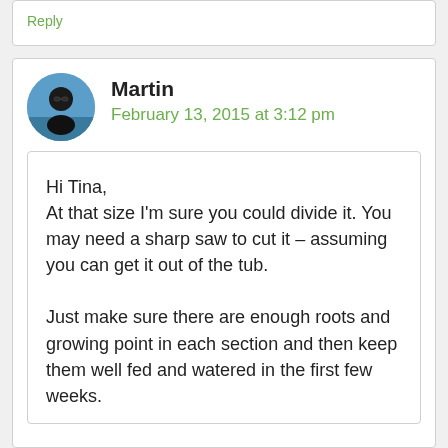Reply
Martin
February 13, 2015 at 3:12 pm
Hi Tina,
At that size I'm sure you could divide it. You may need a sharp saw to cut it – assuming you can get it out of the tub.

Just make sure there are enough roots and growing point in each section and then keep them well fed and watered in the first few weeks.